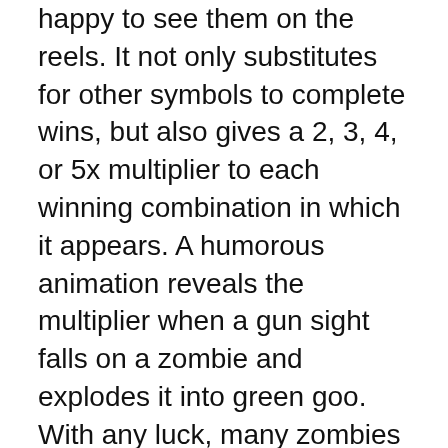happy to see them on the reels. It not only substitutes for other symbols to complete wins, but also gives a 2, 3, 4, or 5x multiplier to each winning combination in which it appears. A humorous animation reveals the multiplier when a gun sight falls on a zombie and explodes it into green goo. With any luck, many zombies will strike simultaneously, and their multipliers will combine to increase the payoff.
If you land three or more gravestones on reels 1, 3, and 5, the Zombie Siege free spins bonus will be activated. The picture shifts and you see four gravestones lined up, with varied free spins and multipliers on three of them. Choose from 12 free games with a 2x or 3x multiplier, 9 free games with a minimum in a number by 3 or 4 or 6 free...